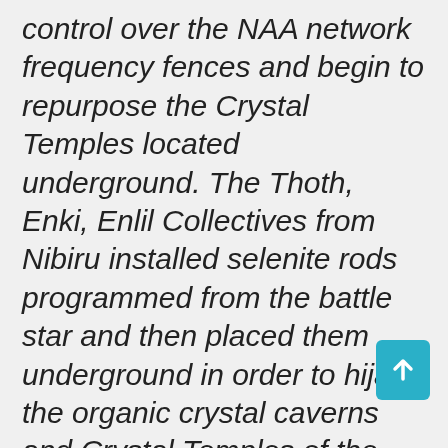control over the NAA network frequency fences and begin to repurpose the Crystal Temples located underground. The Thoth, Enki, Enlil Collectives from Nibiru installed selenite rods programmed from the battle star and then placed them underground in order to hijack the organic crystal caverns and Crystal Temples of the planet. These underground bases became the extensive NET system forcing the metatronic reversal current into the ley lines, in which the planetary reversal merkaba system ran as the